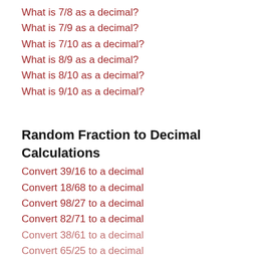What is 7/8 as a decimal?
What is 7/9 as a decimal?
What is 7/10 as a decimal?
What is 8/9 as a decimal?
What is 8/10 as a decimal?
What is 9/10 as a decimal?
Random Fraction to Decimal Calculations
Convert 39/16 to a decimal
Convert 18/68 to a decimal
Convert 98/27 to a decimal
Convert 82/71 to a decimal
Convert 38/61 to a decimal
Convert 65/25 to a decimal